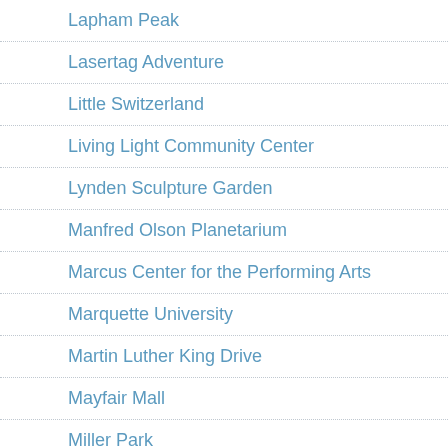Lapham Peak
Lasertag Adventure
Little Switzerland
Living Light Community Center
Lynden Sculpture Garden
Manfred Olson Planetarium
Marcus Center for the Performing Arts
Marquette University
Martin Luther King Drive
Mayfair Mall
Miller Park
Milwaukee Art Museum
Milwaukee Brewing Co.